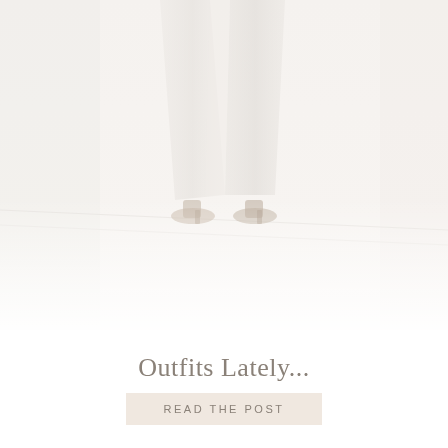[Figure (photo): Faded/washed-out photograph showing the lower half of a person's body, wearing light-colored wide-leg trousers and dark high-heeled shoes, standing on a light-colored floor. The image is heavily overexposed or desaturated to appear very pale.]
Outfits Lately...
READ THE POST